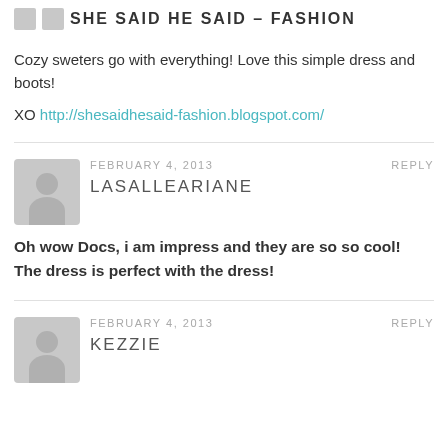SHE SAID HE SAID – FASHION
Cozy sweters go with everything! Love this simple dress and boots!
XO http://shesaidhesaid-fashion.blogspot.com/
FEBRUARY 4, 2013   REPLY
LASALLEARIANE
Oh wow Docs, i am impress and they are so so cool! The dress is perfect with the dress!
FEBRUARY 4, 2013   REPLY
KEZZIE